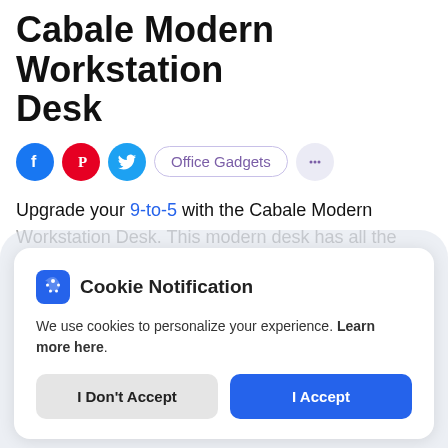Cabale Modern Workstation Desk
[Figure (other): Social share icons: Facebook (blue circle), Pinterest (red circle), Twitter (cyan circle), Office Gadgets tag button, chat/more icon button]
Upgrade your 9-to-5 with the Cabale Modern Workstation Desk. This modern desk has all the conveniences you need to make your workday a
Cookie Notification
We use cookies to personalize your experience. Learn more here.
[I Don't Accept] [I Accept]